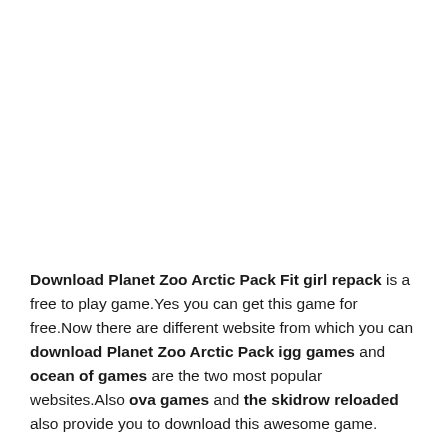Download Planet Zoo Arctic Pack Fit girl repack is a free to play game.Yes you can get this game for free.Now there are different website from which you can download Planet Zoo Arctic Pack igg games and ocean of games are the two most popular websites.Also ova games and the skidrow reloaded also provide you to download this awesome game.